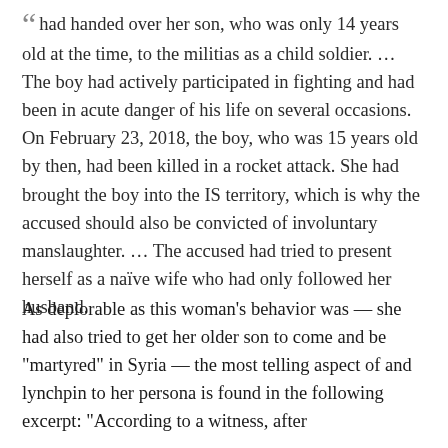“had handed over her son, who was only 14 years old at the time, to the militias as a child soldier. … The boy had actively participated in fighting and had been in acute danger of his life on several occasions. On February 23, 2018, the boy, who was 15 years old by then, had been killed in a rocket attack. She had brought the boy into the IS territory, which is why the accused should also be convicted of involuntary manslaughter. … The accused had tried to present herself as a naïve wife who had only followed her husband.
As deplorable as this woman’s behavior was — she had also tried to get her older son to come and be “martyred” in Syria — the most telling aspect of and lynchpin to her persona is found in the following excerpt: “According to a witness, after